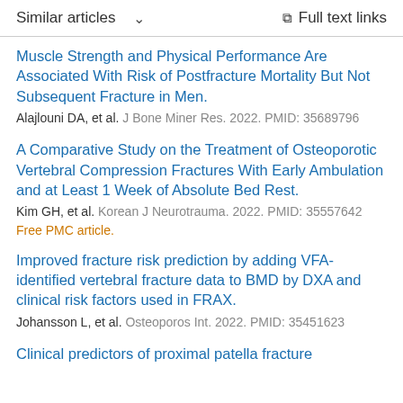Similar articles  ∨   Full text links
Muscle Strength and Physical Performance Are Associated With Risk of Postfracture Mortality But Not Subsequent Fracture in Men.
Alajlouni DA, et al. J Bone Miner Res. 2022. PMID: 35689796
A Comparative Study on the Treatment of Osteoporotic Vertebral Compression Fractures With Early Ambulation and at Least 1 Week of Absolute Bed Rest.
Kim GH, et al. Korean J Neurotrauma. 2022. PMID: 35557642
Free PMC article.
Improved fracture risk prediction by adding VFA-identified vertebral fracture data to BMD by DXA and clinical risk factors used in FRAX.
Johansson L, et al. Osteoporos Int. 2022. PMID: 35451623
Clinical predictors of proximal patella fracture...